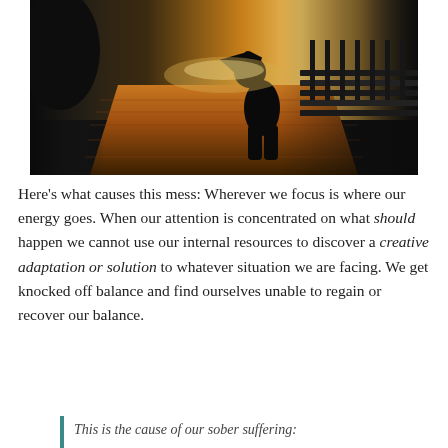[Figure (photo): A silhouette of a person sitting hunched over on a bench with head in hands, on a brick pathway near water, with warm golden backlight creating a somber mood.]
Here’s what causes this mess: Wherever we focus is where our energy goes. When our attention is concentrated on what should happen we cannot use our internal resources to discover a creative adaptation or solution to whatever situation we are facing. We get knocked off balance and find ourselves unable to regain or recover our balance.
This is the cause of our sober suffering: